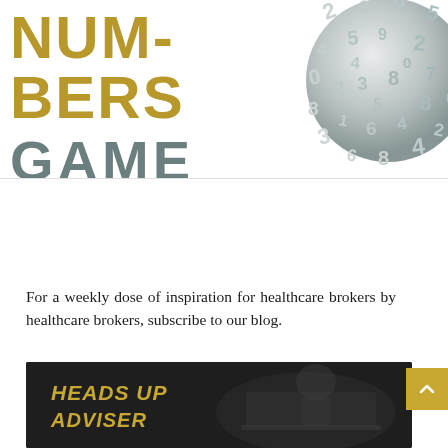[Figure (illustration): Banner image with large bold text 'NUMBERS GAME' in gold and grey on white background, with a sphere made of 3D plastic number characters on the right side]
For a weekly dose of inspiration for healthcare brokers by healthcare brokers, subscribe to our blog.
[Figure (photo): Dark grayscale image of a laptop on a desk with gold italic bold text 'HEADS UP ADVISER' overlaid on the left side]